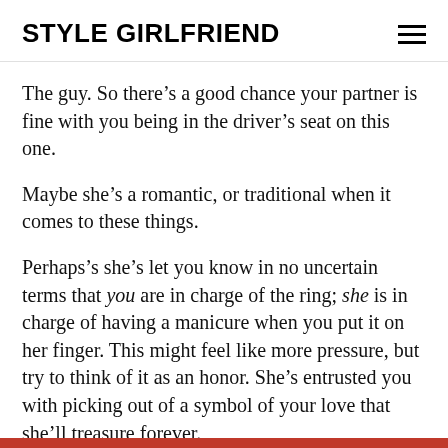STYLE GIRLFRIEND
The guy. So there’s a good chance your partner is fine with you being in the driver’s seat on this one.
Maybe she’s a romantic, or traditional when it comes to these things.
Perhaps’s she’s let you know in no uncertain terms that you are in charge of the ring; she is in charge of having a manicure when you put it on her finger. This might feel like more pressure, but try to think of it as an honor. She’s entrusted you with picking out of a symbol of your love that she’ll treasure forever.